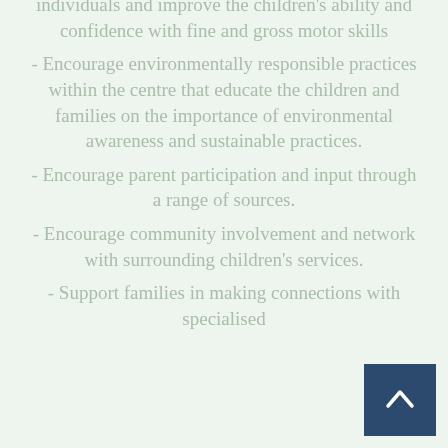individuals and improve the children's ability and confidence with fine and gross motor skills
- Encourage environmentally responsible practices within the centre that educate the children and families on the importance of environmental awareness and sustainable practices.
- Encourage parent participation and input through a range of sources.
- Encourage community involvement and network with surrounding children's services.
- Support families in making connections with specialised